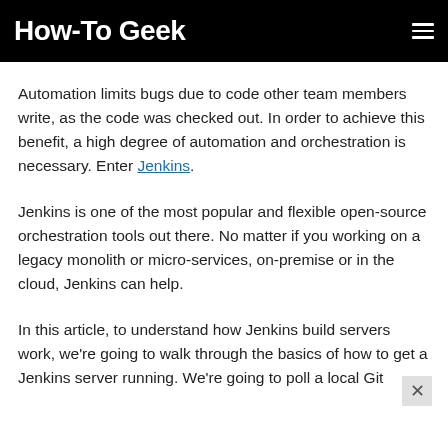How-To Geek
Automation limits bugs due to code other team members write, as the code was checked out. In order to achieve this benefit, a high degree of automation and orchestration is necessary. Enter Jenkins.
Jenkins is one of the most popular and flexible open-source orchestration tools out there. No matter if you working on a legacy monolith or micro-services, on-premise or in the cloud, Jenkins can help.
In this article, to understand how Jenkins build servers work, we're going to walk through the basics of how to get a Jenkins server running. We're going to poll a local Git...